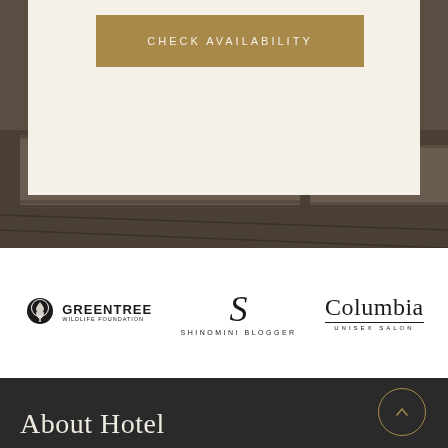[Figure (screenshot): Hotel website screenshot showing a gold 'CHECK AVAILABILITY' button on a cream card, overlaid on a carpet/floor texture background photo, partner logos (Greentree Wildlife Foundation, Shinomini Blogger, Columbia Unisex Salon), and a dark footer with 'About Hotel' heading and a gold circle up-arrow button.]
CHECK AVAILABILITY
[Figure (logo): Greentree Wildlife Foundation logo — tree icon with GREENTREE text and 'WILDLIFE FOUNDATION' subtitle]
[Figure (logo): Shinomini Blogger logo — stylized S with 'SHINOMINI BLOGGER' text]
[Figure (logo): Columbia Unisex Salon logo — serif Columbia text with 'UNISEX SALON' subtitle]
About Hotel